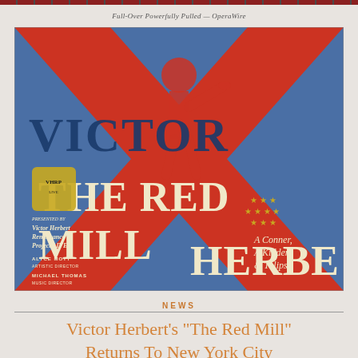Full-OVer Powеrfully Pуlled — OperaWire
[Figure (photo): Theatrical poster for 'The Red Mill' by Victor Herbert Renaissance Project LIVE! featuring bold red and blue design with large text reading VICTOR, THE RED MILL, HERBE, a silhouette of a figure playing trumpet, stars, and text reading 'A Conner, A Kidder, & Tulips!' with credits for Alyce Mott (Artistic Director) and Michael Thomas (Music Director).]
NEWS
Victor Herbert’s “The Red Mill” Returns To New York City